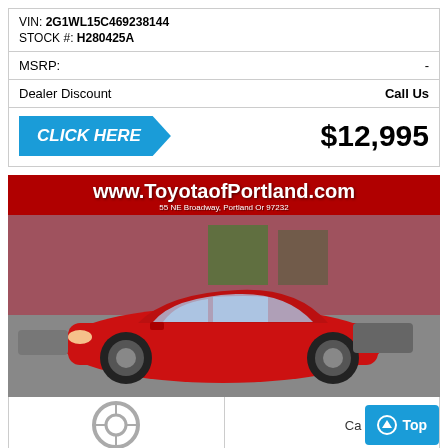VIN: 2G1WL15C469238144
STOCK #: H280425A
MSRP: -
Dealer Discount   Call Us
CLICK HERE   $12,995
[Figure (photo): Red Toyota 86 sports car at Toyota of Portland dealership lot. Overlay text shows www.ToyotaofPortland.com and address 55 NE Broadway, Portland Or 97232. Red background banner at top.]
Ca
Top